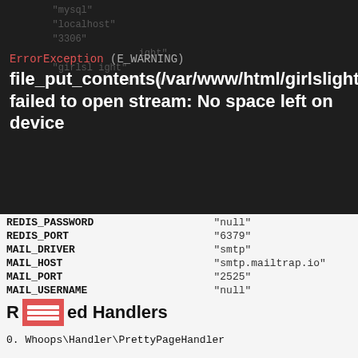[Figure (screenshot): Dark background with faint code text showing PHP/Laravel config values like localhost, 3306, girlslight, smtp, etc.]
ErrorException (E_WARNING)
file_put_contents(/var/www/html/girlslight/storage/framework/sessions/EunaNbmEINhY1hUsRtG1StXK3ogfsasb6W9l3h3k): failed to open stream: No space left on device
| REDIS_PASSWORD | "null" |
| REDIS_PORT | "6379" |
| MAIL_DRIVER | "smtp" |
| MAIL_HOST | "smtp.mailtrap.io" |
| MAIL_PORT | "2525" |
| MAIL_USERNAME | "null" |
| MAIL_PASSWORD | "null" |
| MAIL_ENCRYPTION | "null" |
| PUSHER_APP_ID | "" |
| PUSHER_APP_KEY | "" |
| PUSHER_APP_SECRET | "" |
| PUSHER_APP_CLUSTER | "mt1" |
| MIX_PUSHER_APP_KEY | "" |
| MIX_PUSHER_APP_CLUSTER | "mt1" |
Registered Handlers
0. Whoops\Handler\PrettyPageHandler